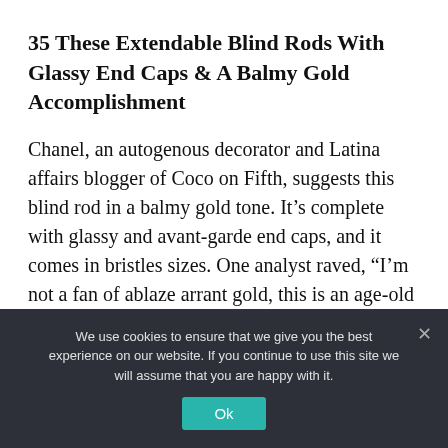35 These Extendable Blind Rods With Glassy End Caps & A Balmy Gold Accomplishment
Chanel, an autogenous decorator and Latina affairs blogger of Coco on Fifth, suggests this blind rod in a balmy gold tone. It’s complete with glassy and avant-garde end caps, and it comes in bristles sizes. One analyst raved, “I’m not a fan of ablaze arrant gold, this is an age-old gold blush that fits appropriate in with my vintage-loving heart.”
We use cookies to ensure that we give you the best experience on our website. If you continue to use this site we will assume that you are happy with it.